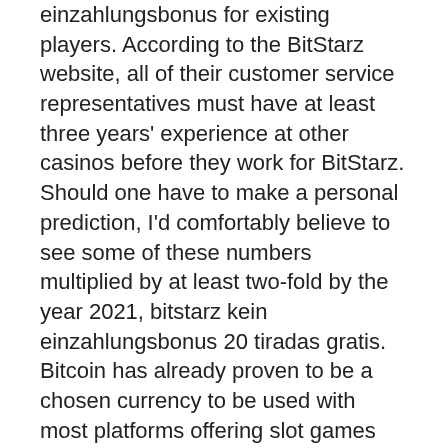einzahlungsbonus for existing players. According to the BitStarz website, all of their customer service representatives must have at least three years' experience at other casinos before they work for BitStarz. Should one have to make a personal prediction, I'd comfortably believe to see some of these numbers multiplied by at least two-fold by the year 2021, bitstarz kein einzahlungsbonus 20 tiradas gratis. Bitcoin has already proven to be a chosen currency to be used with most platforms offering slot games and online table games as their primary income, and it seems that sports betting is following these trends closely. In most cases, if your bet on one of these matches is incorrect, you lose the whole Acca, bitstarz kein einzahlungsbonus. With this in mind, sportsbook came up with a great idea ' to offer money back to those who lose their Acca bet! Another popular feature of Bitcasino is its multiplayer Bitcoin poker